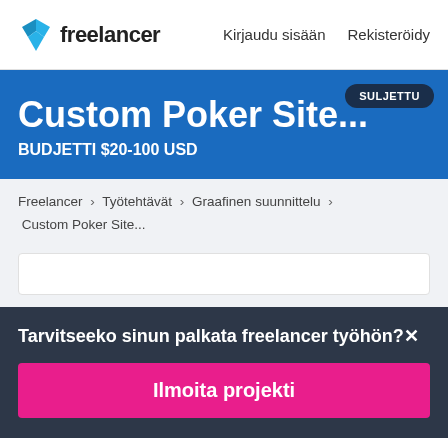Freelancer | Kirjaudu sisään | Rekisteröidy
Custom Poker Site...
BUDJETTI $20-100 USD
SULJETTU
Freelancer › Työtehtävät › Graafinen suunnittelu › Custom Poker Site...
Tarvitseeko sinun palkata freelancer työhön?
Ilmoita projekti